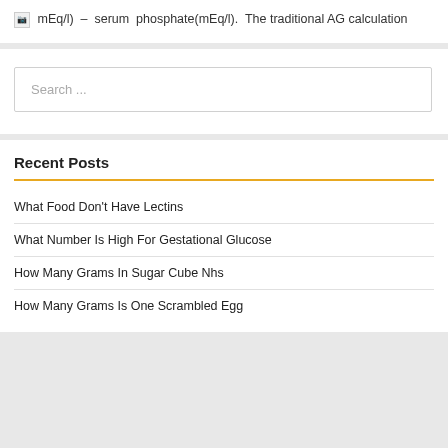[image] mEq/l) – serum phosphate(mEq/l). The traditional AG calculation
Search ...
Recent Posts
What Food Don't Have Lectins
What Number Is High For Gestational Glucose
How Many Grams In Sugar Cube Nhs
How Many Grams Is One Scrambled Egg